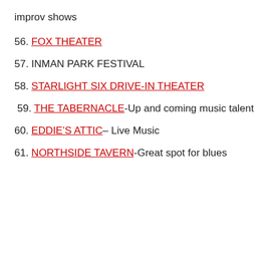improv shows
56. FOX THEATER
57. INMAN PARK FESTIVAL
58. STARLIGHT SIX DRIVE-IN THEATER
59. THE TABERNACLE-Up and coming music talent
60. EDDIE’S ATTIC– Live Music
61. NORTHSIDE TAVERN-Great spot for blues